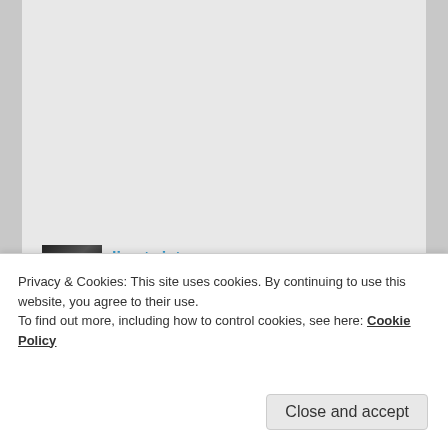There is power in community, even a virtual one.
★ Liked by 1 person
limetwiste on May 2, 2020 at 1:13 pm said:
Absolutely ❤
★ Like
Privacy & Cookies: This site uses cookies. By continuing to use this website, you agree to their use.
To find out more, including how to control cookies, see here: Cookie Policy
Close and accept